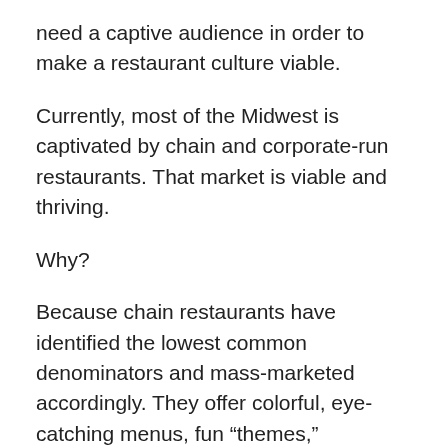need a captive audience in order to make a restaurant culture viable.
Currently, most of the Midwest is captivated by chain and corporate-run restaurants. That market is viable and thriving.
Why?
Because chain restaurants have identified the lowest common denominators and mass-marketed accordingly. They offer colorful, eye-catching menus, fun “themes,” uniformed servers, gentle prices, generous (if not shocking) portion sizes, and predictably tasty foods calibrated to to the full-fat, full-flavor diet. They’re also pitched for the fast-paced modern family, a